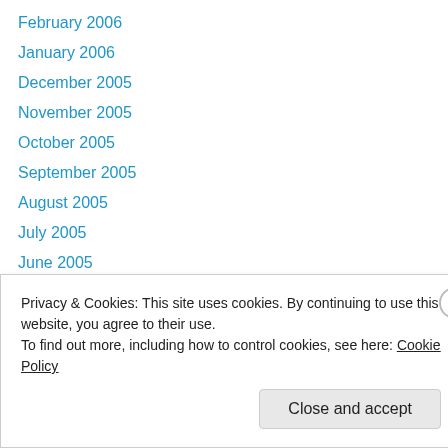February 2006
January 2006
December 2005
November 2005
October 2005
September 2005
August 2005
July 2005
June 2005
May 2005
April 2005
March 2005
February 2005
Privacy & Cookies: This site uses cookies. By continuing to use this website, you agree to their use.
To find out more, including how to control cookies, see here: Cookie Policy
Close and accept